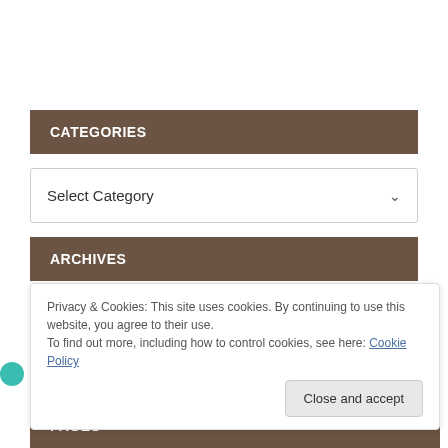CATEGORIES
Select Category
ARCHIVES
Privacy & Cookies: This site uses cookies. By continuing to use this website, you agree to their use.
To find out more, including how to control cookies, see here: Cookie Policy
Close and accept
PAGES